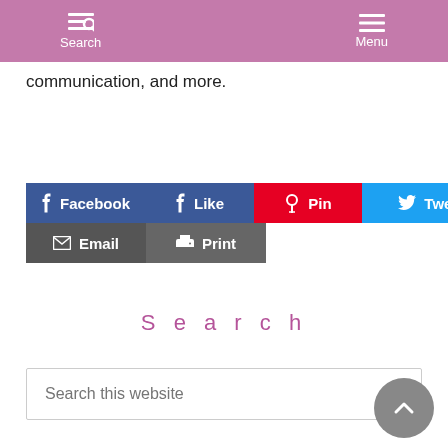Search  Menu
communication, and more.
[Figure (other): Social share buttons row: Facebook, Like, Pin, Tweet; second row: Email, Print]
Search
Search this website